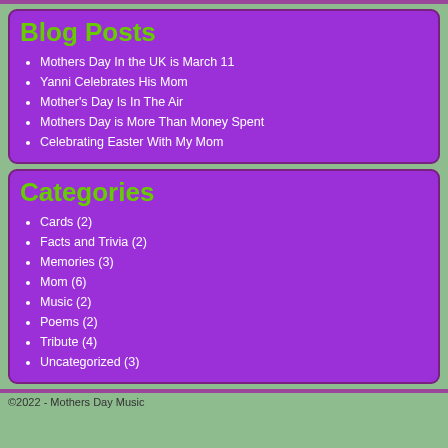Blog Posts
Mothers Day In the UK is March 11
Yanni Celebrates His Mom
Mother's Day Is In The Air
Mothers Day is More Than Money Spent
Celebrating Easter With My Mom
Categories
Cards (2)
Facts and Trivia (2)
Memories (3)
Mom (6)
Music (2)
Poems (2)
Tribute (4)
Uncategorized (3)
©2022 - Mothers Day Music